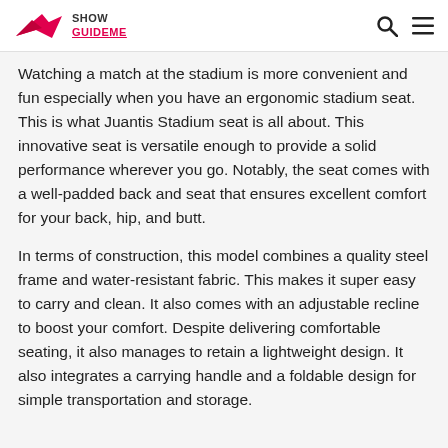Show GuideMe
Watching a match at the stadium is more convenient and fun especially when you have an ergonomic stadium seat. This is what Juantis Stadium seat is all about. This innovative seat is versatile enough to provide a solid performance wherever you go. Notably, the seat comes with a well-padded back and seat that ensures excellent comfort for your back, hip, and butt.
In terms of construction, this model combines a quality steel frame and water-resistant fabric. This makes it super easy to carry and clean. It also comes with an adjustable recline to boost your comfort. Despite delivering comfortable seating, it also manages to retain a lightweight design. It also integrates a carrying handle and a foldable design for simple transportation and storage.